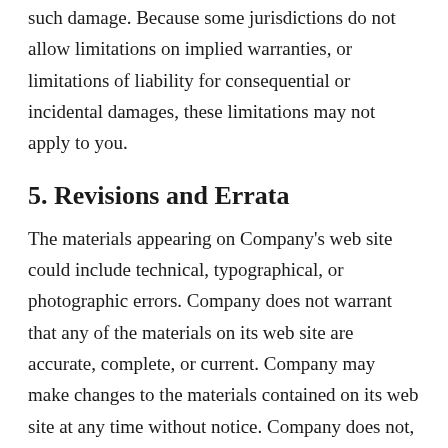such damage. Because some jurisdictions do not allow limitations on implied warranties, or limitations of liability for consequential or incidental damages, these limitations may not apply to you.
5. Revisions and Errata
The materials appearing on Company's web site could include technical, typographical, or photographic errors. Company does not warrant that any of the materials on its web site are accurate, complete, or current. Company may make changes to the materials contained on its web site at any time without notice. Company does not, however, make any